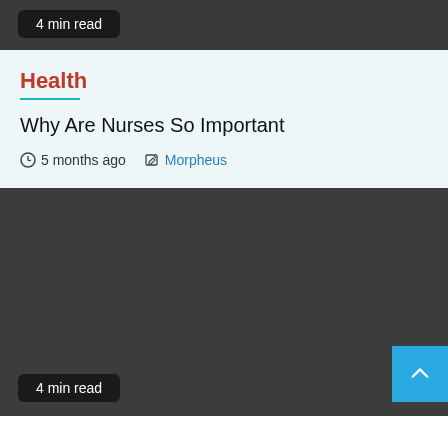4 min read
Health
Why Are Nurses So Important
5 months ago   Morpheus
[Figure (photo): Dark grey/charcoal image placeholder area for article image]
4 min read